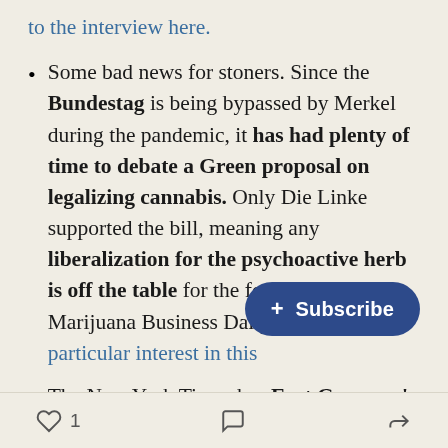to the interview here.
Some bad news for stoners. Since the Bundestag is being bypassed by Merkel during the pandemic, it has had plenty of time to debate a Green proposal on legalizing cannabis. Only Die Linke supported the bill, meaning any liberalization for the psychoactive herb is off the table for the foreseeable future. Marijuana Business Daily has taken a particular interest in this
The New York Times has East Germans’ “love affair” with the
[Figure (other): Subscribe button overlay: dark blue rounded pill button with '+ Subscribe' text]
Heart icon with count 1, comment icon, share icon